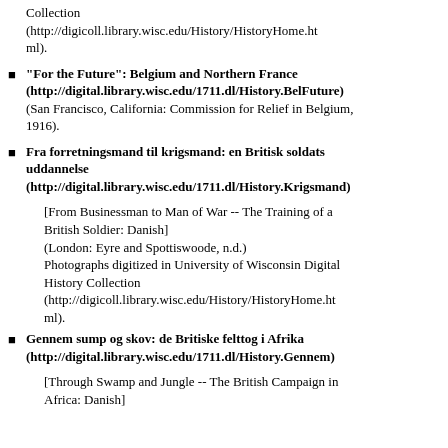Collection (http://digicoll.library.wisc.edu/History/HistoryHome.html).
"For the Future": Belgium and Northern France (http://digital.library.wisc.edu/1711.dl/History.BelFuture) (San Francisco, California: Commission for Relief in Belgium, 1916).
Fra forretningsmand til krigsmand: en Britisk soldats uddannelse (http://digital.library.wisc.edu/1711.dl/History.Krigsmand)
[From Businessman to Man of War -- The Training of a British Soldier: Danish] (London: Eyre and Spottiswoode, n.d.) Photographs digitized in University of Wisconsin Digital History Collection (http://digicoll.library.wisc.edu/History/HistoryHome.html).
Gennem sump og skov: de Britiske felttog i Afrika (http://digital.library.wisc.edu/1711.dl/History.Gennem)
[Through Swamp and Jungle -- The British Campaign in Africa: Danish]